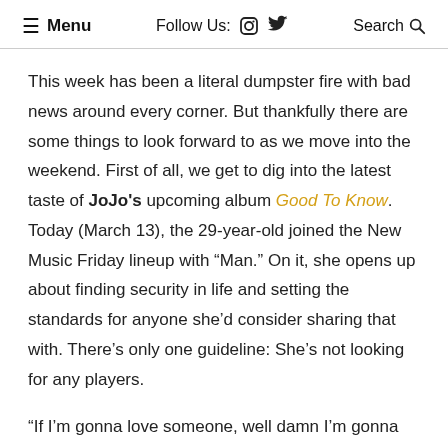≡ Menu   Follow Us:  🔵 🐦   Search 🔍
This week has been a literal dumpster fire with bad news around every corner. But thankfully there are some things to look forward to as we move into the weekend. First of all, we get to dig into the latest taste of JoJo's upcoming album Good To Know. Today (March 13), the 29-year-old joined the New Music Friday lineup with "Man." On it, she opens up about finding security in life and setting the standards for anyone she'd consider sharing that with. There's only one guideline: She's not looking for any players.
"If I'm gonna love someone, well damn I'm gonna need a fucking man. Someone who want me like a fan. I need